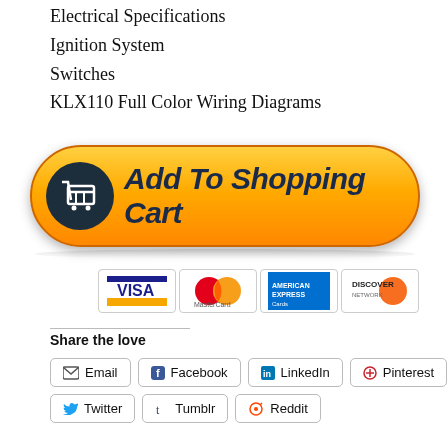Electrical Specifications
Ignition System
Switches
KLX110 Full Color Wiring Diagrams
[Figure (other): Orange 'Add To Shopping Cart' button with shopping cart icon, and payment method icons (Visa, MasterCard, American Express, Discover) below]
Share the love
Email  Facebook  LinkedIn  Pinterest  Twitter  Tumblr  Reddit